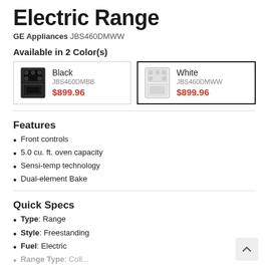Electric Range
GE Appliances JBS460DMWW
Available in 2 Color(s)
| Black | JBS460DMBB | $899.96 |
| White | JBS460DMWW | $899.96 |
Features
Front controls
5.0 cu. ft. oven capacity
Sensi-temp technology
Dual-element Bake
Quick Specs
Type: Range
Style: Freestanding
Fuel: Electric
Range Type: ...